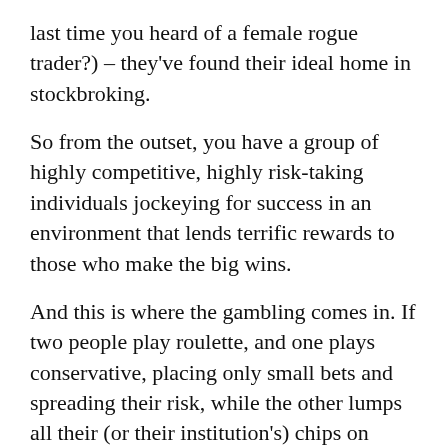last time you heard of a female rogue trader?) – they've found their ideal home in stockbroking.
So from the outset, you have a group of highly competitive, highly risk-taking individuals jockeying for success in an environment that lends terrific rewards to those who make the big wins.
And this is where the gambling comes in. If two people play roulette, and one plays conservative, placing only small bets and spreading their risk, while the other lumps all their (or their institution's) chips on double-zero, it's likely the former will outlast the latter. Slow and steady, and all that.
But occasionally the double-zero risk taker will win big. Bigger than the conservative player can ever hope for.